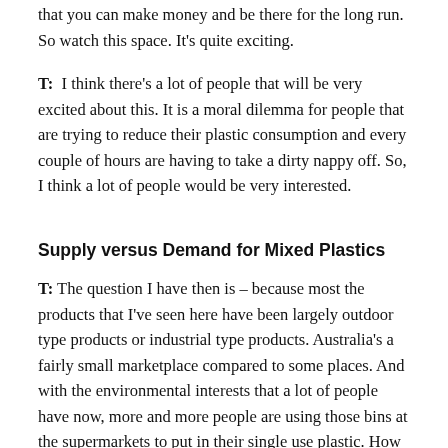that you can make money and be there for the long run. So watch this space. It's quite exciting.
T:  I think there's a lot of people that will be very excited about this. It is a moral dilemma for people that are trying to reduce their plastic consumption and every couple of hours are having to take a dirty nappy off. So, I think a lot of people would be very interested.
Supply versus Demand for Mixed Plastics
T: The question I have then is – because most the products that I've seen here have been largely outdoor type products or industrial type products. Australia's a fairly small marketplace compared to some places. And with the environmental interests that a lot of people have now, more and more people are using those bins at the supermarkets to put in their single use plastic. How are you doing in terms of trying to match the supply that